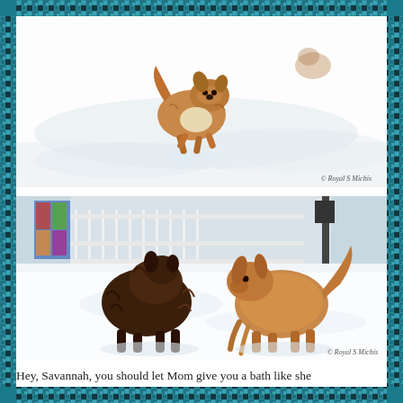[Figure (photo): A small fluffy brown and white dog running through snow. Snow-covered ground visible. Copyright watermark: © Royal S Michis]
[Figure (photo): Two small fluffy dogs facing each other in the snow. One dark brown/chocolate colored with shaggy fur, one golden/tan colored with long fur. White fence and building visible in background. Copyright watermark: © Royal S Michis]
Hey, Savannah, you should let Mom give you a bath like she